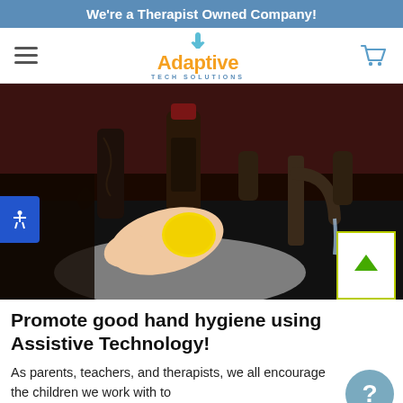We're a Therapist Owned Company!
[Figure (logo): Adaptive Tech Solutions logo with stylized hand icon and orange/blue text]
[Figure (photo): A hand pressing a yellow button near a bathroom sink faucet, promoting assistive technology for hand hygiene]
Promote good hand hygiene using Assistive Technology!
As parents, teachers, and therapists, we all encourage the children we work with to